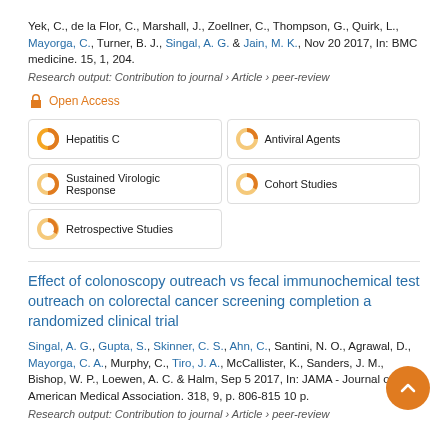Yek, C., de la Flor, C., Marshall, J., Zoellner, C., Thompson, G., Quirk, L., Mayorga, C., Turner, B. J., Singal, A. G. & Jain, M. K., Nov 20 2017, In: BMC medicine. 15, 1, 204.
Research output: Contribution to journal › Article › peer-review
Open Access
Hepatitis C
Antiviral Agents
Sustained Virologic Response
Cohort Studies
Retrospective Studies
Effect of colonoscopy outreach vs fecal immunochemical test outreach on colorectal cancer screening completion a randomized clinical trial
Singal, A. G., Gupta, S., Skinner, C. S., Ahn, C., Santini, N. O., Agrawal, D., Mayorga, C. A., Murphy, C., Tiro, J. A., McCallister, K., Sanders, J. M., Bishop, W. P., Loewen, A. C. & Halm, Sep 5 2017, In: JAMA - Journal of the American Medical Association. 318, 9, p. 806-815 10 p.
Research output: Contribution to journal › Article › peer-review